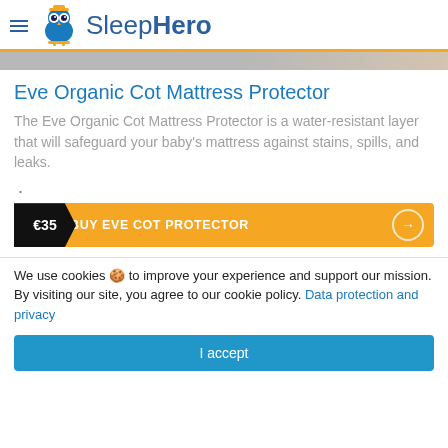SleepHero
[Figure (photo): Partial hero image strip at top of content]
Eve Organic Cot Mattress Protector
The Eve Organic Cot Mattress Protector is a water-resistant layer that will safeguard your baby's mattress against stains, spills, and leaks.
.
€35  BUY EVE COT PROTECTOR →
We use cookies 🍪 to improve your experience and support our mission. By visiting our site, you agree to our cookie policy. Data protection and privacy
I accept